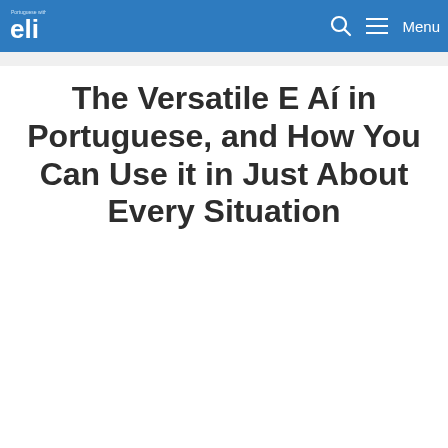eli — Search — Menu
The Versatile E Aí in Portuguese, and How You Can Use it in Just About Every Situation